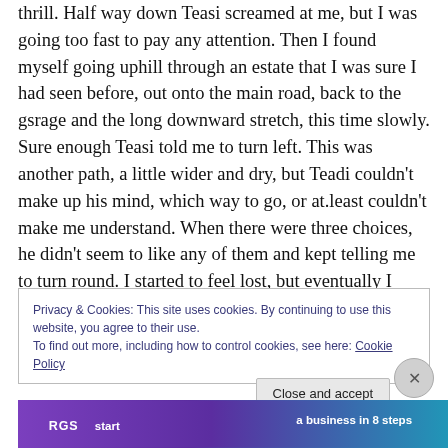thrill. Half way down Teasi screamed at me, but I was going too fast to pay any attention. Then I found myself going uphill through an estate that I was sure I had seen before, out onto the main road, back to the gsrage and the long downward stretch, this time slowly. Sure enough Teasi told me to turn left. This was another path, a little wider and dry, but Teadi couldn't make up his mind, which way to go, or at.least couldn't make me understand. When there were three choices, he didn't seem to like any of them and kept telling me to turn round. I started to feel lost, but eventually I zoomed the screen, decided on the
Privacy & Cookies: This site uses cookies. By continuing to use this website, you agree to their use.
To find out more, including how to control cookies, see here: Cookie Policy
Close and accept
[Figure (other): Advertisement banner with purple and teal gradient background, showing partial text about starting a business in 8 steps]